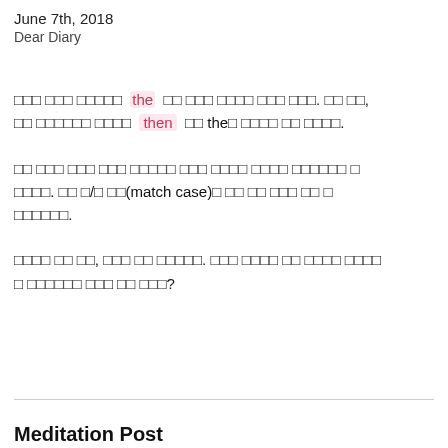June 7th, 2018
Dear Diary
□□□ □□□ □□□□□  the □□ □□□ □□□□ □□□ □□□. □□ □□, □□ □□□□□□ □□□□  then □□ the□ □□□□ □□ □□□□.
□□ □□□ □□□ □□□ □□□□□ □□□ □□□□ □□□□ □□□□□□ □ □□□□. □□ □/□ □□(match case)□ □□ □□ □□□ □□ □ □□□□□□.
□□□□ □□ □□, □□□ □□ □□□□□. □□□ □□□□ □□ □□□□ □□□□ □ □□□□□□ □□□ □□ □□□?
Meditation Post